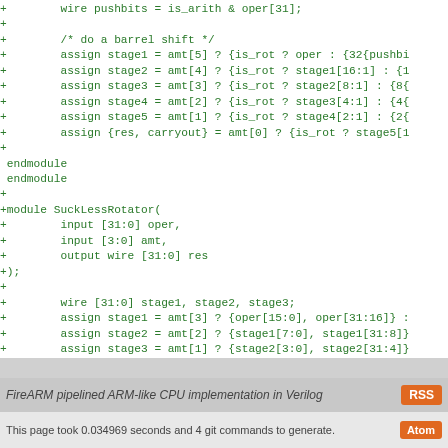+ wire pushbits = is_arith & oper[31];
+
+        /* do a barrel shift */
+        assign stage1 = amt[5] ? {is_rot ? oper : {32{pushbi
+        assign stage2 = amt[4] ? {is_rot ? stage1[16:1] : {1
+        assign stage3 = amt[3] ? {is_rot ? stage2[8:1] : {8{
+        assign stage4 = amt[2] ? {is_rot ? stage3[4:1] : {4{
+        assign stage5 = amt[1] ? {is_rot ? stage4[2:1] : {2{
+        assign {res, carryout} = amt[0] ? {is_rot ? stage5[1
+
 endmodule
 endmodule
+
+module SuckLessRotator(
+        input [31:0] oper,
+        input [3:0] amt,
+        output wire [31:0] res
+);
+
+        wire [31:0] stage1, stage2, stage3;
+        assign stage1 = amt[3] ? {oper[15:0], oper[31:16]} :
+        assign stage2 = amt[2] ? {stage1[7:0], stage1[31:8]}
+        assign stage3 = amt[1] ? {stage2[3:0], stage2[31:4]}
+        assign res    = amt[0] ? {stage3[1:0], stage3[31:2]}
+
+endmodule
+
FireARM pipelined ARM-like CPU implementation in Verilog
This page took 0.034969 seconds and 4 git commands to generate.